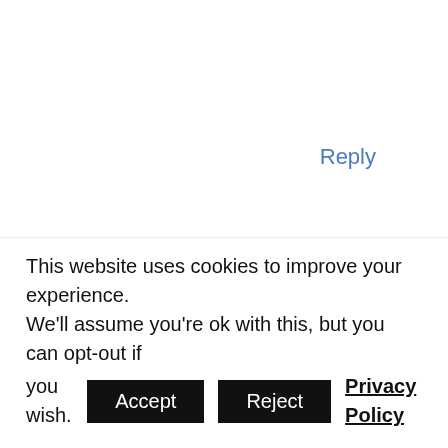Reply
KTEMI
OCTOBER 10, 2019 AT 2:20 PM
Been having knee pain for the past 11 months. It started with my right knee but a few months ago, i started feeling the pain in my
This website uses cookies to improve your experience. We'll assume you're ok with this, but you can opt-out if you wish. Accept Reject Privacy Policy